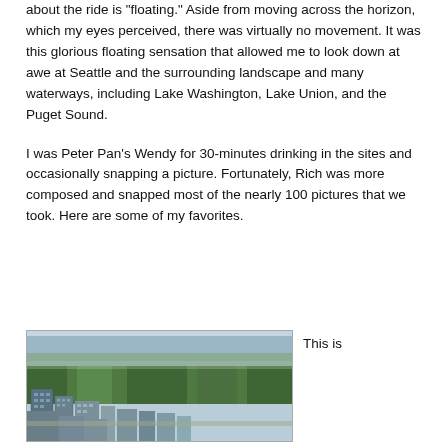about the ride is "floating." Aside from moving across the horizon, which my eyes perceived, there was virtually no movement. It was this glorious floating sensation that allowed me to look down at awe at Seattle and the surrounding landscape and many waterways, including Lake Washington, Lake Union, and the Puget Sound.
I was Peter Pan's Wendy for 30-minutes drinking in the sites and occasionally snapping a picture. Fortunately, Rich was more composed and snapped most of the nearly 100 pictures that we took. Here are some of my favorites.
[Figure (photo): Aerial photograph looking down at Seattle cityscape with tall buildings in foreground and a large body of water (Lake Washington or Puget Sound) visible in the background, surrounded by green tree-covered neighborhoods.]
This is